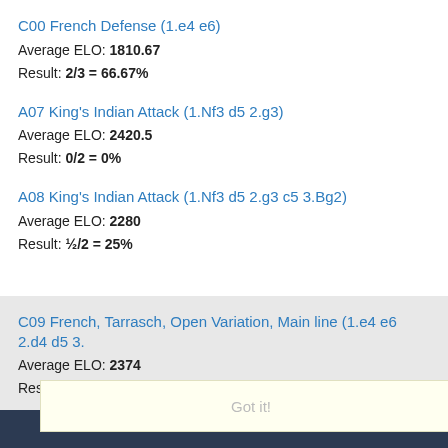C00 French Defense (1.e4 e6)
Average ELO: 1810.67
Result: 2/3 = 66.67%
A07 King's Indian Attack (1.Nf3 d5 2.g3)
Average ELO: 2420.5
Result: 0/2 = 0%
A08 King's Indian Attack (1.Nf3 d5 2.g3 c5 3.Bg2)
Average ELO: 2280
Result: ½/2 = 25%
C09 French, Tarrasch, Open Variation, Main line (1.e4 e6 2.d4 d5 3.
Average ELO: 2374
Result: ½/2 = 25%
D02 Queen's Pawn Game (1.d4 d5 2.Nf3)
Average ELO: 2226.5
Result: 0/2 = 0%